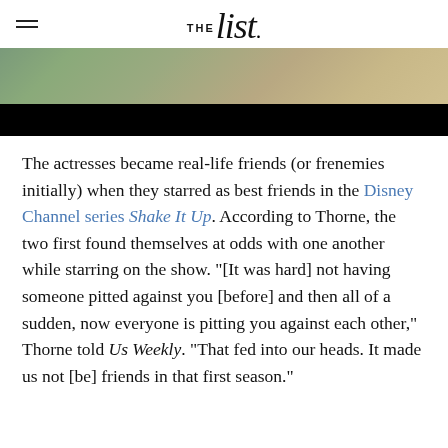THE list
[Figure (photo): Partial photo of a person wearing a green patterned garment, with dark background at bottom]
The actresses became real-life friends (or frenemies initially) when they starred as best friends in the Disney Channel series Shake It Up. According to Thorne, the two first found themselves at odds with one another while starring on the show. "[It was hard] not having someone pitted against you [before] and then all of a sudden, now everyone is pitting you against each other," Thorne told Us Weekly. "That fed into our heads. It made us not [be] friends in that first season."